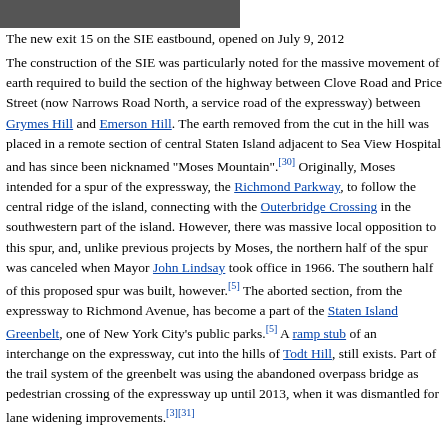[Figure (photo): Partial view of a photograph showing a road or highway scene, cropped at top of page]
The new exit 15 on the SIE eastbound, opened on July 9, 2012
The construction of the SIE was particularly noted for the massive movement of earth required to build the section of the highway between Clove Road and Price Street (now Narrows Road North, a service road of the expressway) between Grymes Hill and Emerson Hill. The earth removed from the cut in the hill was placed in a remote section of central Staten Island adjacent to Sea View Hospital and has since been nicknamed "Moses Mountain".[30] Originally, Moses intended for a spur of the expressway, the Richmond Parkway, to follow the central ridge of the island, connecting with the Outerbridge Crossing in the southwestern part of the island. However, there was massive local opposition to this spur, and, unlike previous projects by Moses, the northern half of the spur was canceled when Mayor John Lindsay took office in 1966. The southern half of this proposed spur was built, however.[5] The aborted section, from the expressway to Richmond Avenue, has become a part of the Staten Island Greenbelt, one of New York City's public parks.[5] A ramp stub of an interchange on the expressway, cut into the hills of Todt Hill, still exists. Part of the trail system of the greenbelt was using the abandoned overpass bridge as pedestrian crossing of the expressway up until 2013, when it was dismantled for lane widening improvements.[3][31]